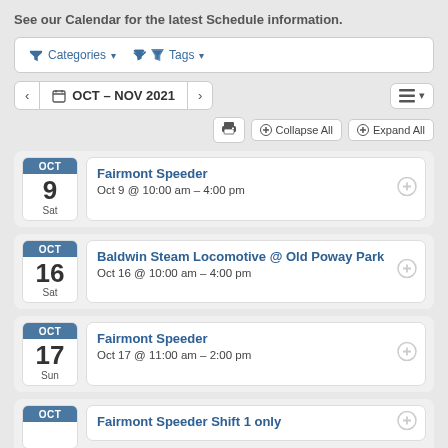See our Calendar for the latest Schedule information.
Categories ▾   Tags ▾
‹  OCT – NOV 2021  ›
🖨  Collapse All  Expand All
Fairmont Speeder — Oct 9 @ 10:00 am – 4:00 pm (Sat, OCT 9)
Baldwin Steam Locomotive @ Old Poway Park — Oct 16 @ 10:00 am – 4:00 pm (Sat, OCT 16)
Fairmont Speeder — Oct 17 @ 11:00 am – 2:00 pm (Sun, OCT 17)
Fairmont Speeder Shift 1 only — (OCT, partial)